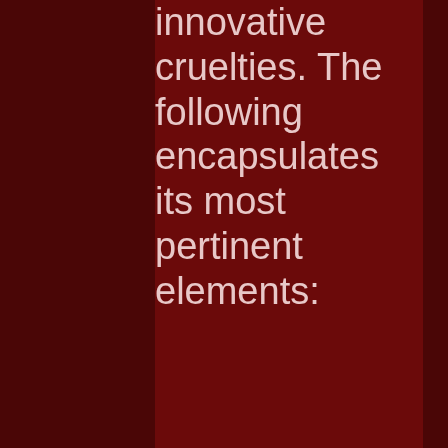innovative cruelties. The following encapsulates its most pertinent elements:
Tone and Attitude - Athas